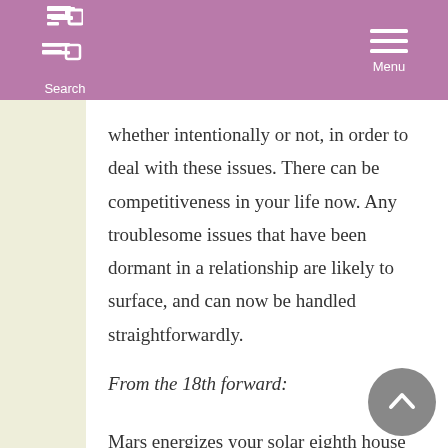Search  Menu
whether intentionally or not, in order to deal with these issues. There can be competitiveness in your life now. Any troublesome issues that have been dormant in a relationship are likely to surface, and can now be handled straightforwardly.
From the 18th forward:
Mars energizes your solar eighth house now. Sexuality and intimacy are